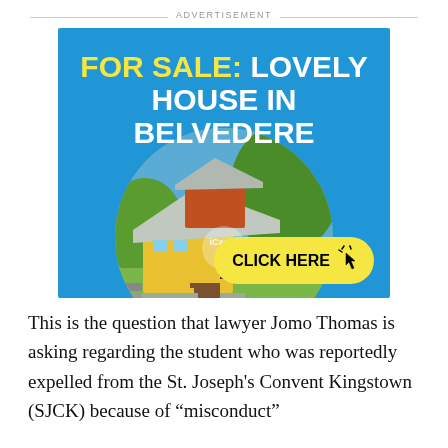ADVERTISEMENT
[Figure (illustration): Real estate advertisement banner with blue background showing 'FOR SALE: LOVELY HOUSE IN BELVEDERE' text in yellow and white, a circular photo of a house aerial view, and a yellow 'CLICK HERE' button with cursor icon.]
This is the question that lawyer Jomo Thomas is asking regarding the student who was reportedly expelled from the St. Joseph's Convent Kingstown (SJCK) because of “misconduct”